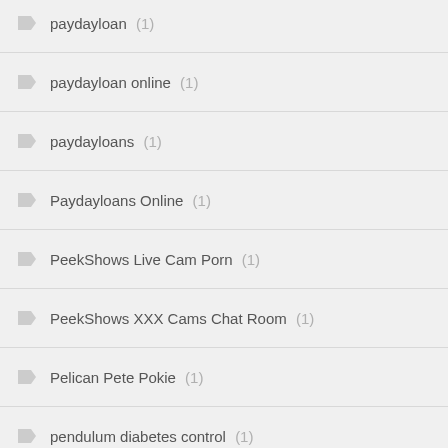paydayloan (1)
paydayloan online (1)
paydayloans (1)
Paydayloans Online (1)
PeekShows Live Cam Porn (1)
PeekShows XXX Cams Chat Room (1)
Pelican Pete Pokie (1)
pendulum diabetes control (1)
penile enlargement devices (1)
penis circulation (1)